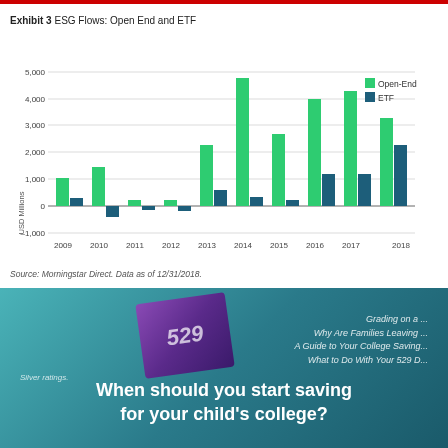Exhibit 3  ESG Flows: Open End and ETF
[Figure (grouped-bar-chart): ESG Flows: Open End and ETF]
Source: Morningstar Direct. Data as of 12/31/2018.
[Figure (infographic): Promotional advertisement for college savings (529) content, showing text overlays: 'Grading on a...', 'Why Are Families Leaving...', 'A Guide to Your College Saving...', 'What to Do With Your 529 D...' and a headline 'When should you start saving for your child's college?']